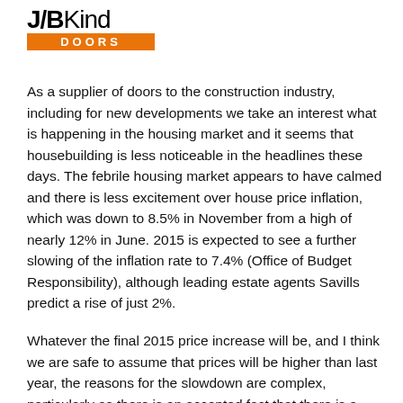[Figure (logo): JBKind Doors logo — stylized text 'JBKind' above an orange bar reading 'DOORS']
As a supplier of doors to the construction industry, including for new developments we take an interest what is happening in the housing market and it seems that housebuilding is less noticeable in the headlines these days. The febrile housing market appears to have calmed and there is less excitement over house price inflation, which was down to 8.5% in November from a high of nearly 12% in June. 2015 is expected to see a further slowing of the inflation rate to 7.4% (Office of Budget Responsibility), although leading estate agents Savills predict a rise of just 2%.
Whatever the final 2015 price increase will be, and I think we are safe to assume that prices will be higher than last year, the reasons for the slowdown are complex, particularly as there is an accepted fact that there is a significant undersupply of new housing which should mean house prices would rise significantly.